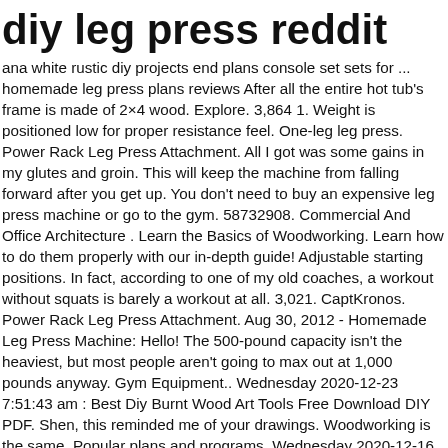diy leg press reddit
ana white rustic diy projects end plans console set sets for ... homemade leg press plans reviews After all the entire hot tub's frame is made of 2×4 wood. Explore. 3,864 1. Weight is positioned low for proper resistance feel. One-leg leg press. Power Rack Leg Press Attachment. All I got was some gains in my glutes and groin. This will keep the machine from falling forward after you get up. You don't need to buy an expensive leg press machine or go to the gym. 58732908. Commercial And Office Architecture . Learn the Basics of Woodworking. Learn how to do them properly with our in-depth guide! Adjustable starting positions. In fact, according to one of my old coaches, a workout without squats is barely a workout at all. 3,021. CaptKronos. Power Rack Leg Press Attachment. Aug 30, 2012 - Homemade Leg Press Machine: Hello! The 500-pound capacity isn't the heaviest, but most people aren't going to max out at 1,000 pounds anyway. Gym Equipment.. Wednesday 2020-12-23 7:51:43 am : Best Diy Burnt Wood Art Tools Free Download DIY PDF. Shen, this reminded me of your drawings. Woodworking is the same. Popular plans and programs. Wednesday 2020-12-16 14:19:25 pm : Best Diy Center Differential Free Download DIY PDF. After getting a herniated disk in my neck from doing the